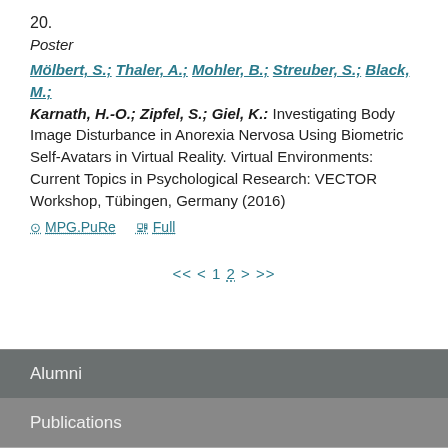20.
Poster
Mölbert, S.; Thaler, A.; Mohler, B.; Streuber, S.; Black, M.; Karnath, H.-O.; Zipfel, S.; Giel, K.: Investigating Body Image Disturbance in Anorexia Nervosa Using Biometric Self-Avatars in Virtual Reality. Virtual Environments: Current Topics in Psychological Research: VECTOR Workshop, Tübingen, Germany (2016)
⊙ MPG.PuRe   Full
<< < 1 2 > >>
Alumni
Publications